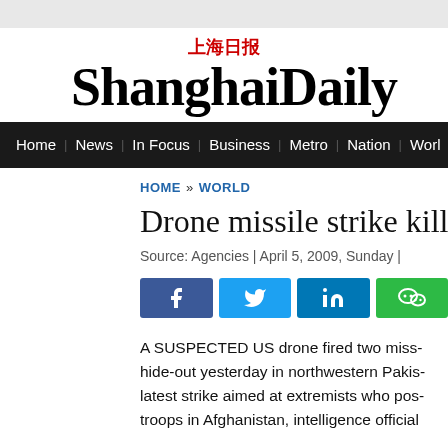上海日报 ShanghaiDaily
Home | News | In Focus | Business | Metro | Nation | Worl
HOME » WORLD
Drone missile strike kills
Source: Agencies | April 5, 2009, Sunday |
[Figure (other): Social share buttons: Facebook, Twitter, LinkedIn, WeChat]
A SUSPECTED US drone fired two miss- hide-out yesterday in northwestern Pakis- latest strike aimed at extremists who pos- troops in Afghanistan, intelligence official
The home targeted just after dawn yeste-